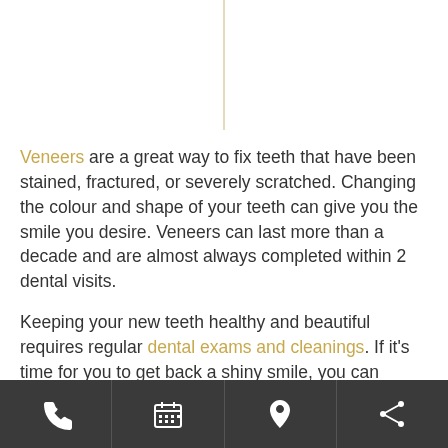[Figure (other): Vertical decorative golden/tan line centered at top of page]
Veneers are a great way to fix teeth that have been stained, fractured, or severely scratched. Changing the colour and shape of your teeth can give you the smile you desire. Veneers can last more than a decade and are almost always completed within 2 dental visits.
Keeping your new teeth healthy and beautiful requires regular dental exams and cleanings. If it’s time for you to get back a shiny smile, you can schedule an appointment with our team at
Phone | Calendar | Location | Share